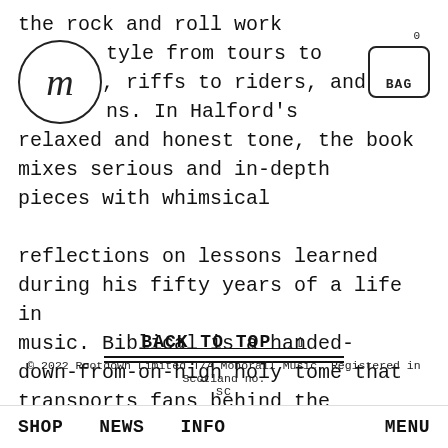m (logo) | BAG 0
the rock and roll work style from tours to tattoos, riffs to riders, and drug turns. In Halford's relaxed and honest tone, the book mixes serious and in-depth pieces with whimsical

reflections on lessons learned during his fifty years of a life in music. Biblical is a handed-down-from-on-high holy tome that transports fans behind the scenes and back into their

record collections, to the almighty ways of rock.
BACK TO TOP ^
© 2022 Rootdown Limited T/A Monorail Music. Registered in Scotland no.
SHOP   NEWS   INFO   MENU